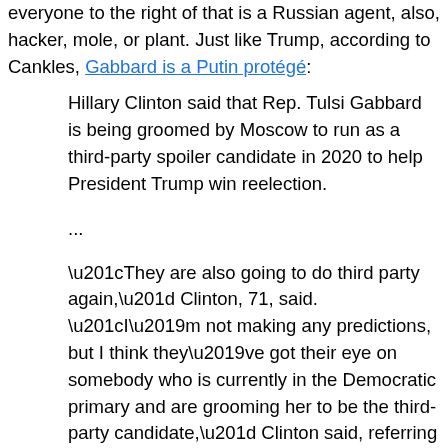everyone to the right of that is a Russian agent, also, hacker, mole, or plant. Just like Trump, according to Cankles, Gabbard is a Putin protégé:
Hillary Clinton said that Rep. Tulsi Gabbard is being groomed by Moscow to run as a third-party spoiler candidate in 2020 to help President Trump win reelection.
...
“They are also going to do third party again,” Clinton, 71, said. “I’m not making any predictions, but I think they’ve got their eye on somebody who is currently in the Democratic primary and are grooming her to be the third-party candidate,” Clinton said, referring to Gabbard, without mentioning the Hawaii representative by name.
“She is a favorite of the Russians. They have a bunch of sites and bots and other ways of supporting her so far. That’s assuming Jill Stein will give it up, which she